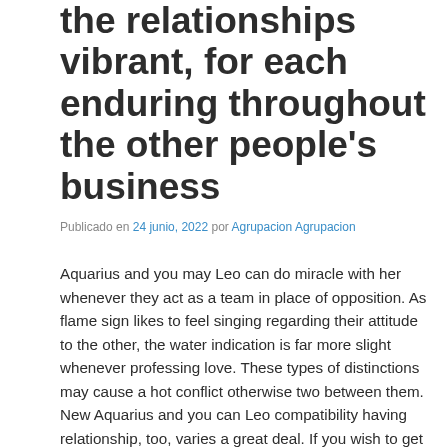the relationships vibrant, for each enduring throughout the other people's business
Publicado en 24 junio, 2022 por Agrupacion Agrupacion
Aquarius and you may Leo can do miracle with her whenever they act as a team in place of opposition. As flame sign likes to feel singing regarding their attitude to the other, the water indication is far more slight whenever professing love. These types of distinctions may cause a hot conflict otherwise two between them. New Aquarius and you can Leo compatibility having relationship, too, varies a great deal. If you wish to get married, make sure you spend some time along prior to going on the altar.